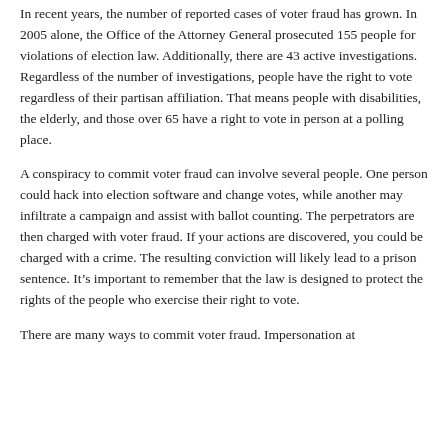In recent years, the number of reported cases of voter fraud has grown. In 2005 alone, the Office of the Attorney General prosecuted 155 people for violations of election law. Additionally, there are 43 active investigations. Regardless of the number of investigations, people have the right to vote regardless of their partisan affiliation. That means people with disabilities, the elderly, and those over 65 have a right to vote in person at a polling place.
A conspiracy to commit voter fraud can involve several people. One person could hack into election software and change votes, while another may infiltrate a campaign and assist with ballot counting. The perpetrators are then charged with voter fraud. If your actions are discovered, you could be charged with a crime. The resulting conviction will likely lead to a prison sentence. It’s important to remember that the law is designed to protect the rights of the people who exercise their right to vote.
There are many ways to commit voter fraud. Impersonation at